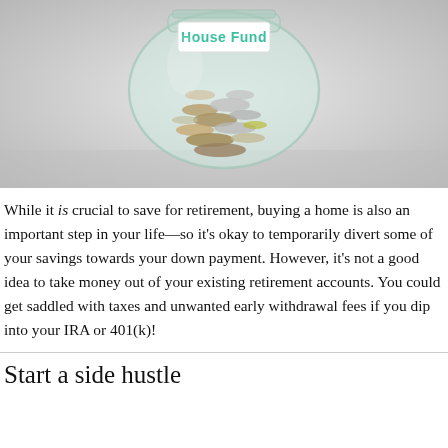[Figure (photo): A glass jar filled with coins and labeled 'House Fund' in teal handwriting on a white paper tag, placed on a light gray background.]
While it is crucial to save for retirement, buying a home is also an important step in your life—so it's okay to temporarily divert some of your savings towards your down payment. However, it's not a good idea to take money out of your existing retirement accounts. You could get saddled with taxes and unwanted early withdrawal fees if you dip into your IRA or 401(k)!
Start a side hustle